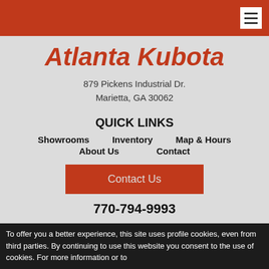Atlanta Kubota - header navigation bar
Atlanta Kubota
879 Pickens Industrial Dr.
Marietta, GA 30062
QUICK LINKS
Showrooms
Inventory
Map & Hours
About Us
Contact
Contact Us
770-794-9993
To offer you a better experience, this site uses profile cookies, even from third parties. By continuing to use this website you consent to the use of cookies. For more information or to